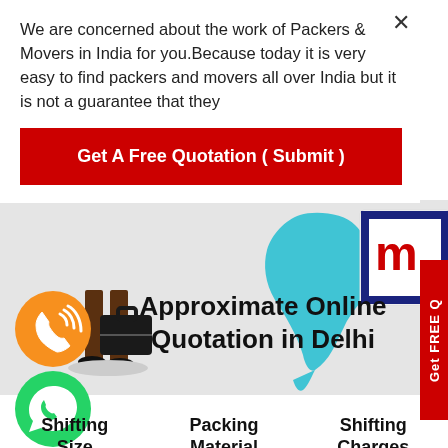We are concerned about the work of Packers & Movers in India for you.Because today it is very easy to find packers and movers all over India but it is not a guarantee that they
Get A Free Quotation ( Submit )
[Figure (illustration): Banner showing a man carrying a briefcase, an India map shape in teal/cyan, and a logo with red and blue colors on a light grey background]
[Figure (logo): Orange circle with phone/call icon in white]
[Figure (logo): Green circle with WhatsApp logo in white]
Approximate Online Quotation in Delhi
| Shifting Size | Packing Material | Shifting Charges |
| --- | --- | --- |